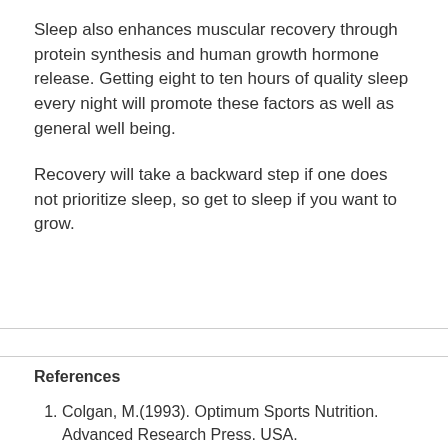Sleep also enhances muscular recovery through protein synthesis and human growth hormone release. Getting eight to ten hours of quality sleep every night will promote these factors as well as general well being.
Recovery will take a backward step if one does not prioritize sleep, so get to sleep if you want to grow.
References
Colgan, M.(1993). Optimum Sports Nutrition. Advanced Research Press. USA.